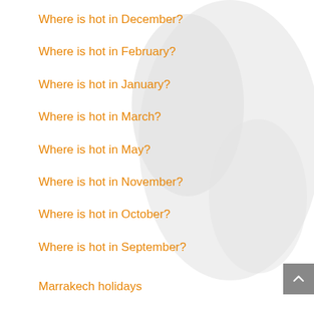[Figure (map): Faint grey silhouette map in the background on the right side of the page]
Where is hot in December?
Where is hot in February?
Where is hot in January?
Where is hot in March?
Where is hot in May?
Where is hot in November?
Where is hot in October?
Where is hot in September?
Marrakech holidays
South Africa holidays
Hawaii holidays